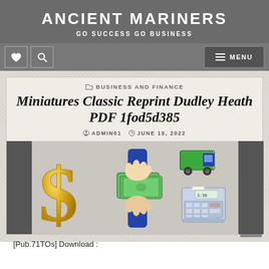ANCIENT MARINERS
GO SUCCESS GO BUSINESS
Miniatures Classic Reprint Dudley Heath PDF 1fod5d385
ADMIN01   JUNE 15, 2022
[Figure (illustration): Business illustration showing a gold dollar sign on the left, hands exchanging money in the center, and a delivery truck with a cash register on the right, all on a grey background.]
[Pub.71TOs] Download :